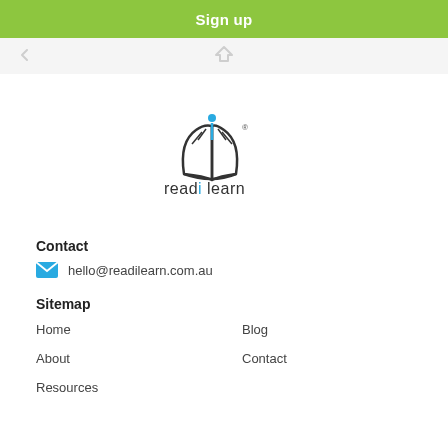Sign up
[Figure (logo): Read iLearn logo — open book with person figure, text 'read i learn' with registered trademark symbol]
Contact
hello@readilearn.com.au
Sitemap
Home
Blog
About
Contact
Resources